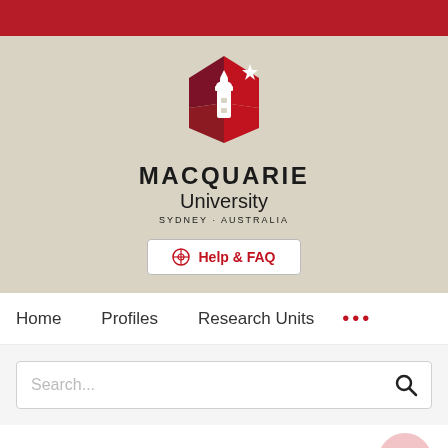[Figure (logo): Macquarie University logo — hexagonal red/dark-red shape with lighthouse and star, with text MACQUARIE University SYDNEY·AUSTRALIA]
⊕ Help & FAQ
Home   Profiles   Research Units   •••
Search...
Reproductive ethics: Ethical issues and menopause